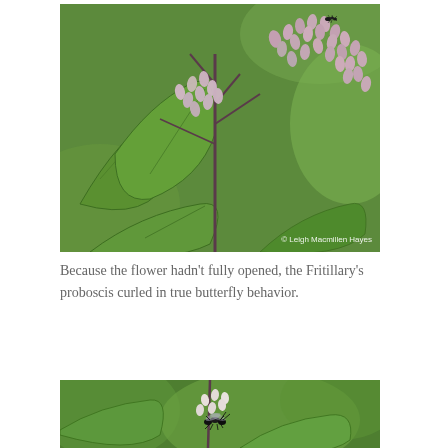[Figure (photo): Close-up photograph of a plant with clusters of small pink/white flower buds (Joe-Pye weed or similar), with large serrated green leaves. A small insect is visible on the upper flower cluster. Blurred green background. Watermark reads '© Leigh Macmillen Hayes'.]
Because the flower hadn't fully opened, the Fritillary's proboscis curled in true butterfly behavior.
[Figure (photo): Partial close-up photograph of a plant with small white flower buds and a dark insect (likely a wasp or fly) visible on the stems, against a green background.]